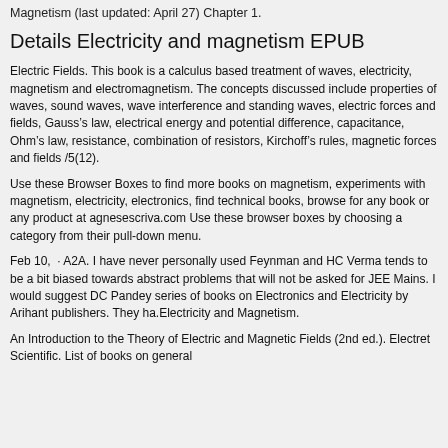Magnetism (last updated: April 27) Chapter 1.
Details Electricity and magnetism EPUB
Electric Fields. This book is a calculus based treatment of waves, electricity, magnetism and electromagnetism. The concepts discussed include properties of waves, sound waves, wave interference and standing waves, electric forces and fields, Gauss’s law, electrical energy and potential difference, capacitance, Ohm’s law, resistance, combination of resistors, Kirchoff’s rules, magnetic forces and fields /5(12).
Use these Browser Boxes to find more books on magnetism, experiments with magnetism, electricity, electronics, find technical books, browse for any book or any product at agnesescriva.com Use these browser boxes by choosing a category from their pull-down menu.
Feb 10,  · A2A. I have never personally used Feynman and HC Verma tends to be a bit biased towards abstract problems that will not be asked for JEE Mains. I would suggest DC Pandey series of books on Electronics and Electricity by Arihant publishers. They ha.Electricity and Magnetism.
An Introduction to the Theory of Electric and Magnetic Fields (2nd ed.). Electret Scientific. List of books on general